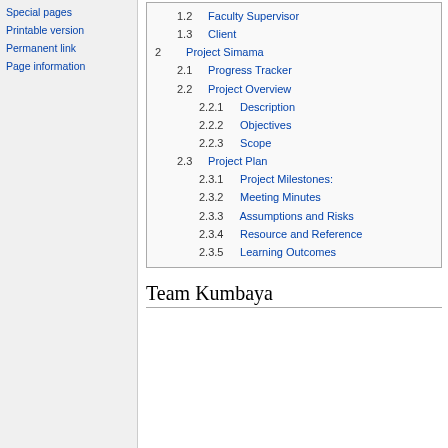Special pages
Printable version
Permanent link
Page information
| 1.2 | Faculty Supervisor |
| 1.3 | Client |
| 2 | Project Simama |
| 2.1 | Progress Tracker |
| 2.2 | Project Overview |
| 2.2.1 | Description |
| 2.2.2 | Objectives |
| 2.2.3 | Scope |
| 2.3 | Project Plan |
| 2.3.1 | Project Milestones: |
| 2.3.2 | Meeting Minutes |
| 2.3.3 | Assumptions and Risks |
| 2.3.4 | Resource and Reference |
| 2.3.5 | Learning Outcomes |
Team Kumbaya